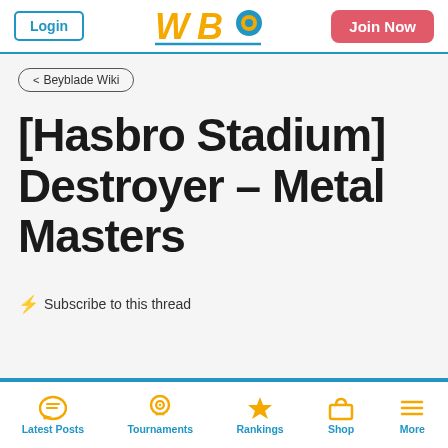Login | WBO logo | Join Now
< Beyblade Wiki
[Hasbro Stadium] Destroyer - Metal Masters
⚡ Subscribe to this thread
Latest Posts | Tournaments | Rankings | Shop | More